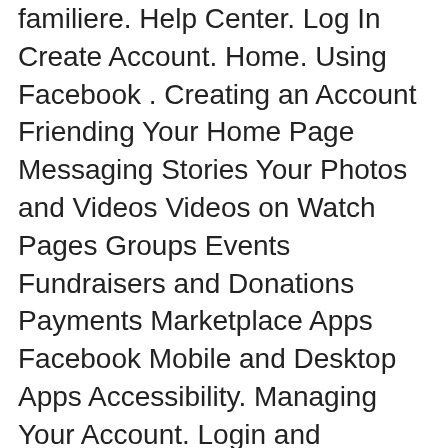familiere. Help Center. Log In Create Account. Home. Using Facebook . Creating an Account Friending Your Home Page Messaging Stories Your Photos and Videos Videos on Watch Pages Groups Events Fundraisers and Donations Payments Marketplace Apps Facebook Mobile and Desktop Apps Accessibility. Managing Your Account. Login and Password Your Profile and Settings Names on Facebook Keeping Your ...
16/10/2013 · The Facebook Reviews Button is a way for businesses to collect reviews from fans and customers on their Facebook Page. This video tutorial teaches you how to add the Facebook